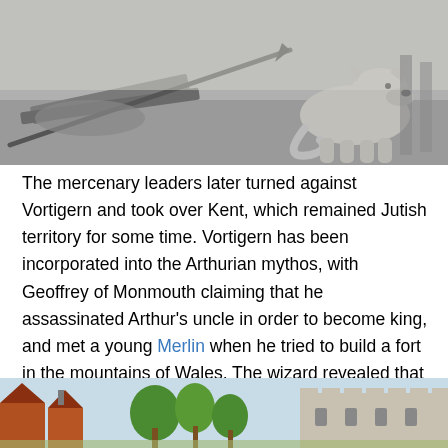[Figure (illustration): Black and white pencil/graphite illustration showing a spear or lance resting diagonally across a wooden surface on the left, and a large dog or wolf-like creature sitting on the right side.]
The mercenary leaders later turned against Vortigern and took over Kent, which remained Jutish territory for some time. Vortigern has been incorporated into the Arthurian mythos, with Geoffrey of Monmouth claiming that he assassinated Arthur's uncle in order to become king, and met a young Merlin when he tried to build a fort in the mountains of Wales. The wizard revealed that the fortress kept falling because it was built over the home of two fighting dragons, one symbolizing the Britons and the other the Saxons, and the latter was winning.
[Figure (illustration): Colored illustration showing a medieval or fantasy scene with red-roofed buildings on the left, trees in the middle, and a large stone castle or fortress on the right, under a light blue sky.]